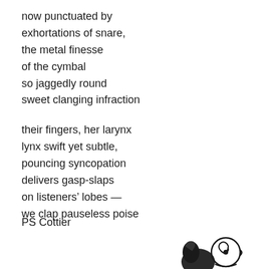now punctuated by
exhortations of snare,
the metal finesse
of the cymbal
so jaggedly round
sweet clanging infraction

their fingers, her larynx
lynx swift yet subtle,
pouncing syncopation
delivers gasp-slaps
on listeners' lobes —
we clap pauseless poise
PS Cottier
[Figure (illustration): Partial black-and-white illustration of stylized figures, visible at the bottom right of the page, appearing to show abstract or musical characters.]